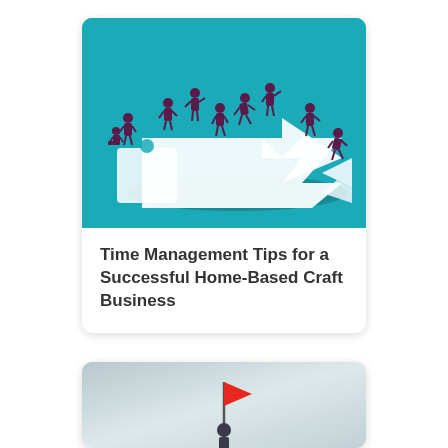[Figure (illustration): Illustration on teal/turquoise background showing multiple businesspeople figures (in dark maroon/purple suits) standing and moving on white puzzle-piece arrow shapes, suggesting teamwork and direction.]
Time Management Tips for a Successful Home-Based Craft Business
[Figure (illustration): Partial illustration showing a person holding a red flag, on a light grey/blue gradient background, partially cropped at bottom of page.]